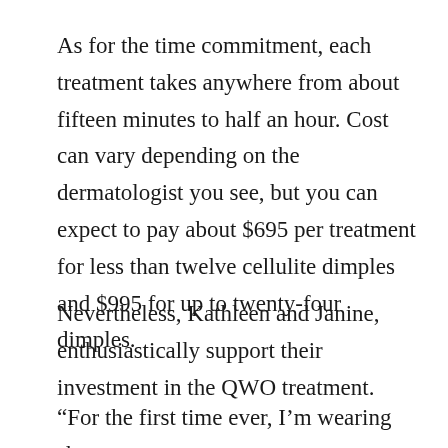As for the time commitment, each treatment takes anywhere from about fifteen minutes to half an hour. Cost can vary depending on the dermatologist you see, but you can expect to pay about $695 per treatment for less than twelve cellulite dimples and $995 for up to twenty-four dimples.
Nevertheless, Kathleen and Janine, enthusiastically support their investment in the QWO treatment.
“For the first time ever, I’m wearing shorts on a